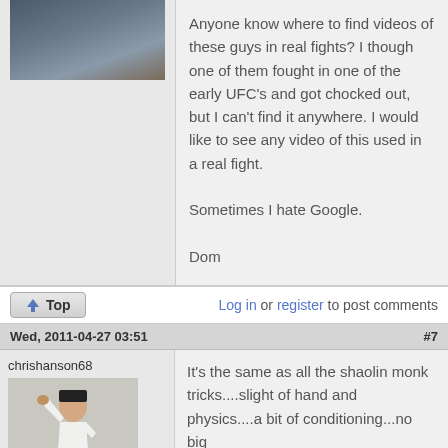[Figure (photo): Profile avatar photo of a person, partially cropped at top]
Anyone know where to find videos of these guys in real fights?  I though one of them fought in one of the early UFC's and got chocked out, but I can't find it anywhere.  I would like to see any video of this used in a real fight.

Sometimes I hate Google.

Dom
Log in or register to post comments
Wed, 2011-04-27 03:51   #7
chrishanson68
[Figure (photo): Photo of a person in a white karate gi with a black belt, in a fighting stance]
It's the same as all the shaolin monk tricks....slight of hand and physics....a bit of conditioning...no big